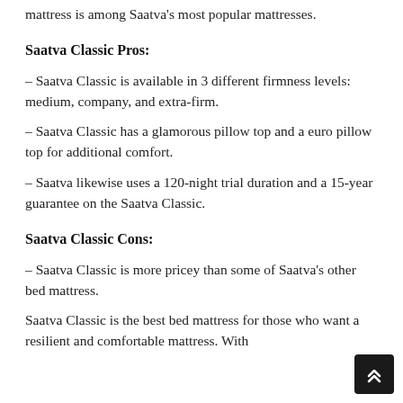mattress is among Saatva's most popular mattresses.
Saatva Classic Pros:
– Saatva Classic is available in 3 different firmness levels: medium, company, and extra-firm.
– Saatva Classic has a glamorous pillow top and a euro pillow top for additional comfort.
– Saatva likewise uses a 120-night trial duration and a 15-year guarantee on the Saatva Classic.
Saatva Classic Cons:
– Saatva Classic is more pricey than some of Saatva's other bed mattress.
Saatva Classic is the best bed mattress for those who want a resilient and comfortable mattress. With